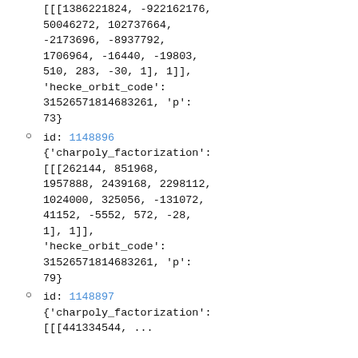[[[1386221824, -922162176, 50046272, 102737664, -2173696, -8937792, 1706964, -16440, -19803, 510, 283, -30, 1], 1]], 'hecke_orbit_code': 31526571814683261, 'p': 73}
id: 1148896 {'charpoly_factorization': [[[262144, 851968, 1957888, 2439168, 2298112, 1024000, 325056, -131072, 41152, -5552, 572, -28, 1], 1]], 'hecke_orbit_code': 31526571814683261, 'p': 79}
id: 1148897 {'charpoly_factorization': [[[441334544, ...